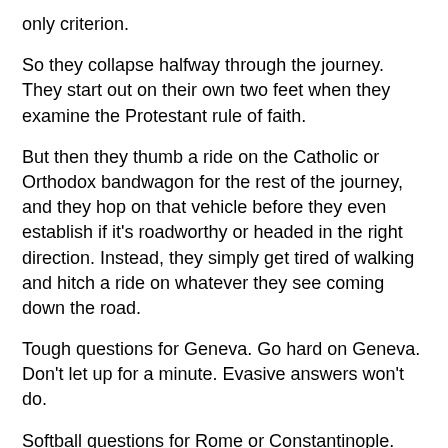only criterion.
So they collapse halfway through the journey. They start out on their own two feet when they examine the Protestant rule of faith.
But then they thumb a ride on the Catholic or Orthodox bandwagon for the rest of the journey, and they hop on that vehicle before they even establish if it's roadworthy or headed in the right direction. Instead, they simply get tired of walking and hitch a ride on whatever they see coming down the road.
Tough questions for Geneva. Go hard on Geneva. Don't let up for a minute. Evasive answers won't do.
Softball questions for Rome or Constantinople. Gloss over all of the historical gaps and forgeries and discontinuities and infighting.
6. Their primary question is predicated on a false expectation. The expectation of exhaustive guidance